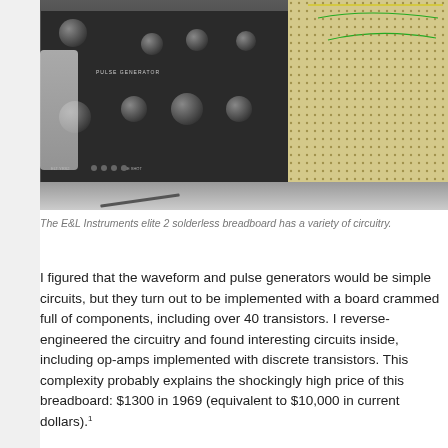[Figure (photo): E&L Instruments elite 2 solderless breadboard with pulse generator and waveform instruments panel with knobs on the left, and a large breadboard with holes and wires on the right. The instruments panel is dark/black with multiple knobs and labels. The breadboard is beige/tan colored with rows and columns of holes.]
The E&L Instruments elite 2 solderless breadboard has a variety of circuitry.
I figured that the waveform and pulse generators would be simple circuits, but they turn out to be implemented with a board crammed full of components, including over 40 transistors. I reverse-engineered the circuitry and found interesting circuits inside, including op-amps implemented with discrete transistors. This complexity probably explains the shockingly high price of this breadboard: $1300 in 1969 (equivalent to $10,000 in current dollars).¹